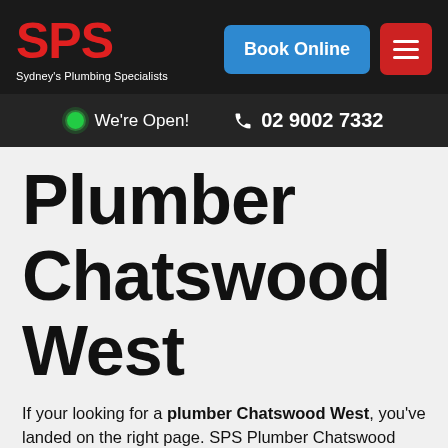[Figure (logo): SPS Sydney's Plumbing Specialists logo in red bold text on dark background]
Book Online
[Figure (other): Hamburger menu icon button in red]
We're Open!   02 9002 7332
Plumber Chatswood West
If your looking for a plumber Chatswood West, you've landed on the right page. SPS Plumber Chatswood West is local award winning plumbing